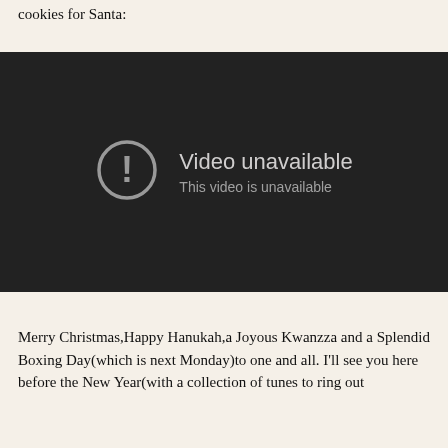cookies for Santa:
[Figure (screenshot): Embedded video player showing 'Video unavailable' error message with exclamation mark icon in a circle on dark background. Text reads: 'Video unavailable' and 'This video is unavailable']
Merry Christmas,Happy Hanukah,a Joyous Kwanzza and a Splendid Boxing Day(which is next Monday)to one and all. I'll see you here before the New Year(with a collection of tunes to ring out